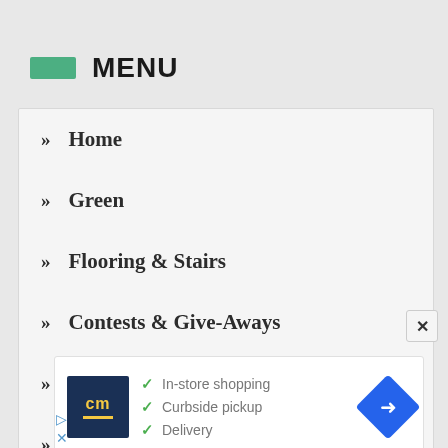MENU
Home
Green
Flooring & Stairs
Contests & Give-Aways
Tools & Workshop
Interior Design
[Figure (infographic): Advertisement panel with cm logo, checkmarks for In-store shopping, Curbside pickup, Delivery, and blue navigation diamond arrow button]